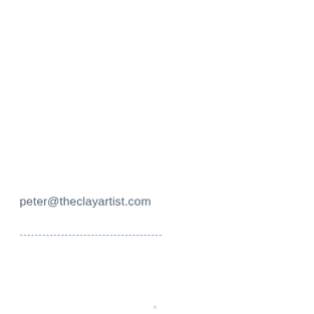peter@theclayartist.com
--------------------------------------
×